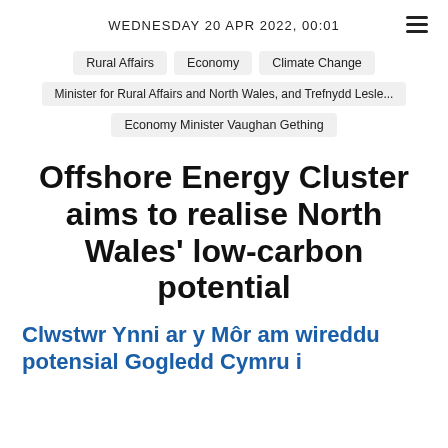WEDNESDAY 20 APR 2022, 00:01
Rural Affairs
Economy
Climate Change
Minister for Rural Affairs and North Wales, and Trefnydd Lesle...
Economy Minister Vaughan Gething
Offshore Energy Cluster aims to realise North Wales' low-carbon potential
Clwstwr Ynni ar y Môr am wireddu potensial Gogledd Cymru i